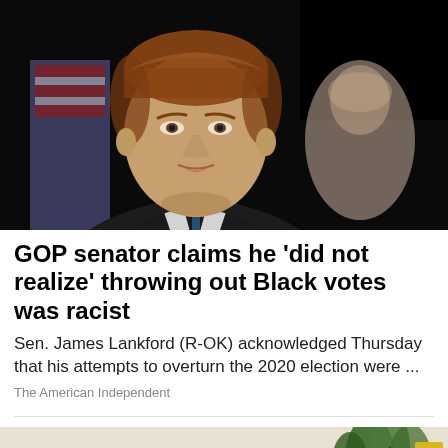[Figure (photo): A man in a dark suit and blue tie speaking, with an American flag visible in the background and a blurred woman behind him.]
GOP senator claims he 'did not realize' throwing out Black votes was racist
Sen. James Lankford (R-OK) acknowledged Thursday that his attempts to overturn the 2020 election were ...
The American Independent
[Figure (photo): Partial view of a room with plants and decorative objects on a light surface.]